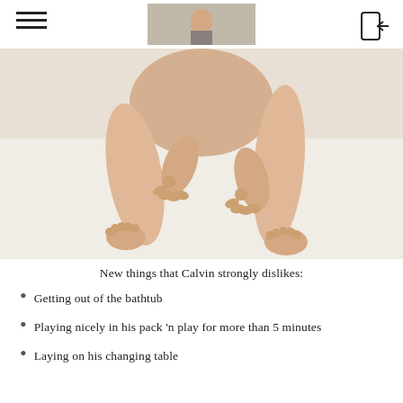[Navigation header with hamburger menu, center photo, and login icon]
[Figure (photo): Close-up photograph of a baby's hands and feet on a white surface, viewed from above]
New things that Calvin strongly dislikes:
Getting out of the bathtub
Playing nicely in his pack 'n play for more than 5 minutes
Laying on his changing table